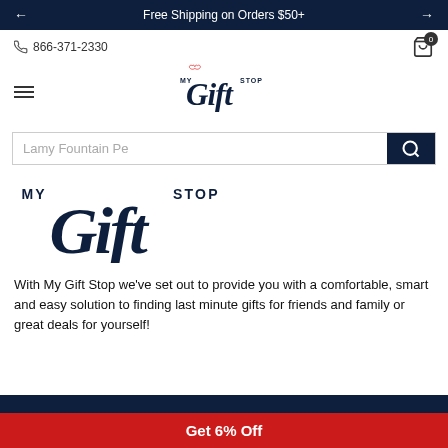Free Shipping on Orders $50+
866-371-2330
[Figure (logo): My Gift Stop logo with heart in script font, dark navy and red]
Lamy Fountain Pe
[Figure (logo): Large My Gift Stop script logo text in dark navy]
With My Gift Stop we've set out to provide you with a comfortable, smart and easy solution to finding last minute gifts for friends and family or great deals for yourself!
Get 6% Off